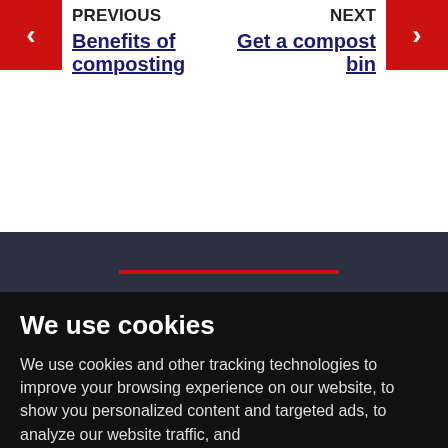PREVIOUS
Benefits of composting
NEXT
Get a compost bin
We use cookies
We use cookies and other tracking technologies to improve your browsing experience on our website, to show you personalized content and targeted ads, to analyze our website traffic, and